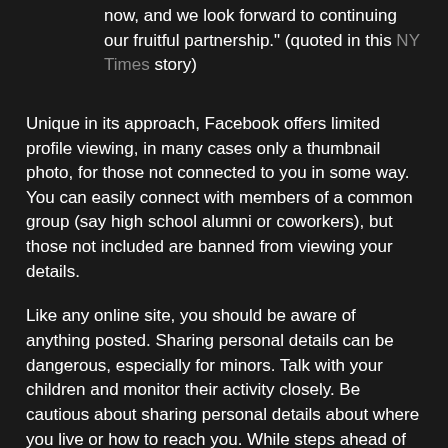now, and we look forward to continuing our fruitful partnership." (quoted in this NY Times story)
Unique in its approach, Facebook offers limited profile viewing, in many cases only a thumbnail photo, for those not connected to you in some way. You can easily connect with members of a common group (say high school alumni or coworkers), but those not included are banned from viewing your details.
Like any online site, you should be aware of anything posted. Sharing personal details can be dangerous, especially for minors. Talk with your children and monitor their activity closely. Be cautious about sharing personal details about where you live or how to reach you. While steps ahead of Myspace, Facebook's privacy controls are not perfect -- an inherent trait of social networking sites.
So go ahead, get addicted... Join Facebook! And while